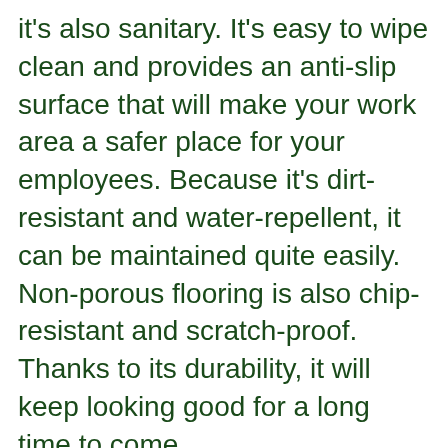it's also sanitary. It's easy to wipe clean and provides an anti-slip surface that will make your work area a safer place for your employees. Because it's dirt-resistant and water-repellent, it can be maintained quite easily. Non-porous flooring is also chip-resistant and scratch-proof. Thanks to its durability, it will keep looking good for a long time to come.
Silikal Flooring
Silikal flooring is another type of non-porous flooring in that it is easy to clean and maintain. It offers maximum protection against slipping. Made of an industrial-strength resin, it provides a seamless surface that's durable and...